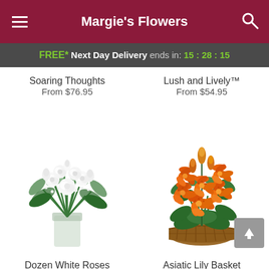Margie's Flowers
FREE* Next Day Delivery ends in: 15:28:15
Soaring Thoughts
From $76.95
Lush and Lively™
From $54.95
[Figure (photo): Bouquet of dozen white roses with baby's breath in a clear glass vase]
[Figure (photo): Asiatic lily basket with vibrant orange lilies and green foliage in a wicker basket]
Dozen White Roses
Asiatic Lily Basket